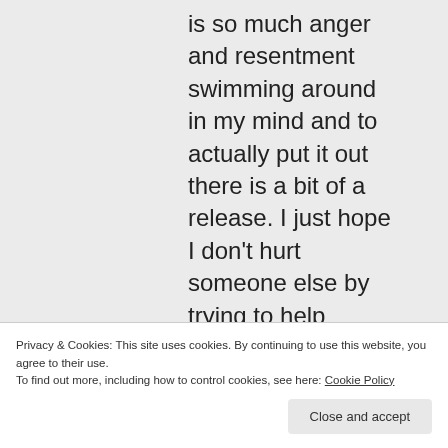is so much anger and resentment swimming around in my mind and to actually put it out there is a bit of a release. I just hope I don't hurt someone else by trying to help myself. Thank you again
Privacy & Cookies: This site uses cookies. By continuing to use this website, you agree to their use.
To find out more, including how to control cookies, see here: Cookie Policy
Close and accept